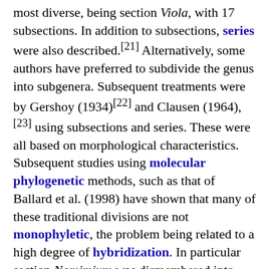most diverse, being section Viola, with 17 subsections. In addition to subsections, series were also described.[21] Alternatively, some authors have preferred to subdivide the genus into subgenera. Subsequent treatments were by Gershoy (1934)[22] and Clausen (1964),[23] using subsections and series. These were all based on morphological characteristics. Subsequent studies using molecular phylogenetic methods, such as that of Ballard et al. (1998) have shown that many of these traditional divisions are not monophyletic, the problem being related to a high degree of hybridization. In particular section Nomimium was dismembered into several new sections and transferring part of it to section Viola. Section Viola s. lat. is represented by four sections, Viola sensu stricto, Plagiostigma s. str., Nosphinium sensu lato. and the V. spathulata group. In that analysis, the S